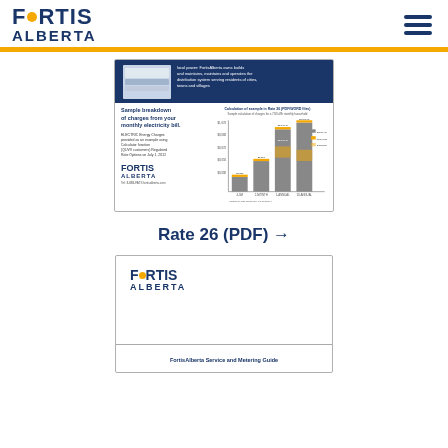FORTIS ALBERTA
[Figure (screenshot): Thumbnail of a FortisAlberta Rate 26 PDF document showing a bar chart with sample breakdown of charges from monthly electricity bill, with FortisAlberta logo and phone number]
Rate 26 (PDF) →
[Figure (screenshot): Thumbnail of a FortisAlberta Service and Metering Guide document cover page showing the FortisAlberta logo and title text]